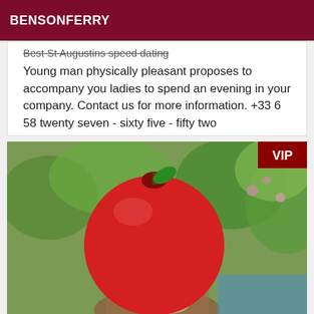BENSONFERRY
Best St Augustins speed dating
Young man physically pleasant proposes to accompany you ladies to spend an evening in your company. Contact us for more information. +33 6 58 twenty seven - sixty five - fifty two
[Figure (photo): Photo of a person outdoors by a pool with greenery in background; face obscured by a large red apple emoji/graphic. VIP badge in top-right corner.]